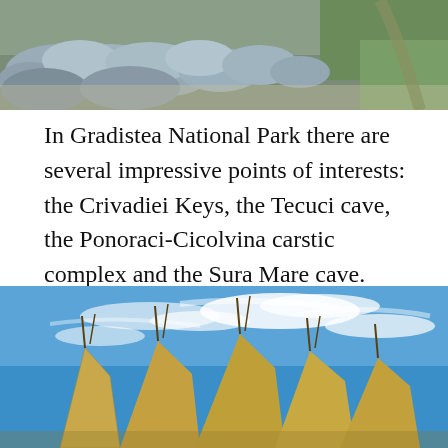[Figure (photo): Landscape photograph showing rocky limestone outcrops and grassy hillside terrain in a national park]
In Gradistea National Park there are several impressive points of interests: the Crivadiei Keys, the Tecuci cave, the Ponoraci-Cicolvina carstic complex and the Sura Mare cave.
[Figure (photo): Photograph of traditional conical thatched haystack structures against a bright blue sky with wispy white clouds]